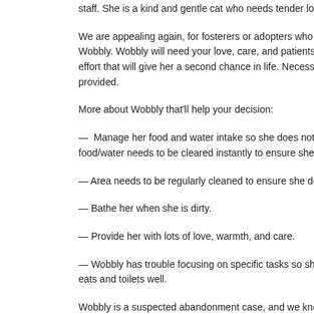staff. She is a kind and gentle cat who needs tender loving care
We are appealing again, for fosterers or adopters who are willing to take in Wobbly. Wobbly will need your love, care, and patients for the effort that will give her a second chance in life. Necessary items provided.
More about Wobbly that'll help your decision:
— Manage her food and water intake so she does not food/water needs to be cleared instantly to ensure she does n
— Area needs to be regularly cleaned to ensure she does not
— Bathe her when she is dirty.
— Provide her with lots of love, warmth, and care.
— Wobbly has trouble focusing on specific tasks so she may se eats and toilets well.
Wobbly is a suspected abandonment case, and we know she d